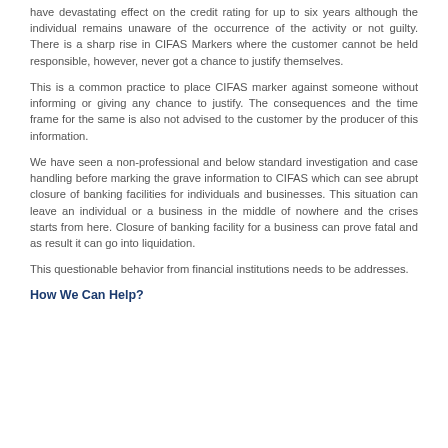have devastating effect on the credit rating for up to six years although the individual remains unaware of the occurrence of the activity or not guilty. There is a sharp rise in CIFAS Markers where the customer cannot be held responsible, however, never got a chance to justify themselves.
This is a common practice to place CIFAS marker against someone without informing or giving any chance to justify. The consequences and the time frame for the same is also not advised to the customer by the producer of this information.
We have seen a non-professional and below standard investigation and case handling before marking the grave information to CIFAS which can see abrupt closure of banking facilities for individuals and businesses. This situation can leave an individual or a business in the middle of nowhere and the crises starts from here. Closure of banking facility for a business can prove fatal and as result it can go into liquidation.
This questionable behavior from financial institutions needs to be addresses.
How We Can Help?